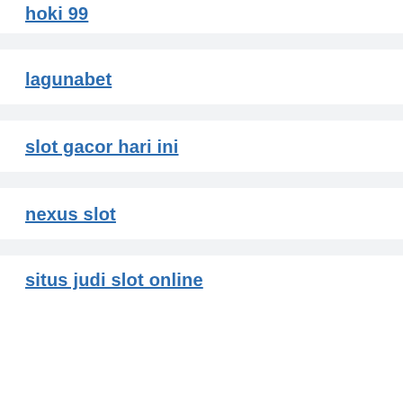hoki 99
lagunabet
slot gacor hari ini
nexus slot
situs judi slot online